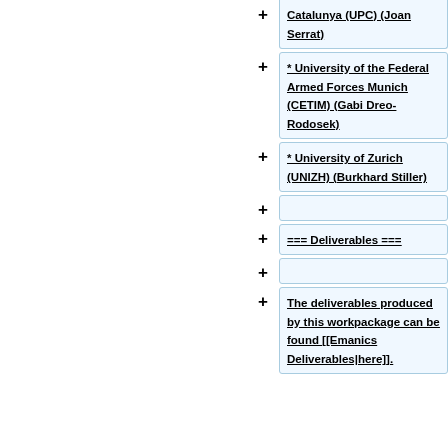Catalunya (UPC) (Joan Serrat)
* University of the Federal Armed Forces Munich (CETIM) (Gabi Dreo-Rodosek)
* University of Zurich (UNIZH) (Burkhard Stiller)
=== Deliverables ===
The deliverables produced by this workpackage can be found [[Emanics Deliverables|here]].